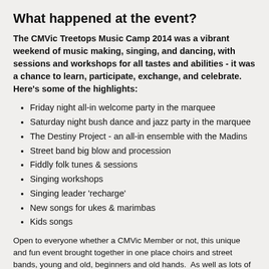What happened at the event?
The CMVic Treetops Music Camp 2014 was a vibrant weekend of music making, singing, and dancing, with sessions and workshops for all tastes and abilities - it was a chance to learn, participate, exchange, and celebrate. Here's some of the highlights:
Friday night all-in welcome party in the marquee
Saturday night bush dance and jazz party in the marquee
The Destiny Project - an all-in ensemble with the Madins
Street band big blow and procession
Fiddly folk tunes & sessions
Singing workshops
Singing leader 'recharge'
New songs for ukes & marimbas
Kids songs
Open to everyone whether a CMVic Member or not, this unique and fun event brought together in one place choirs and street bands, young and old, beginners and old hands.  As well as lots of opportunities for singing and playing music, there were leadership skills sessions for both singers and instrumentalists too.  Great workshop leaders from all over Victoria ran a